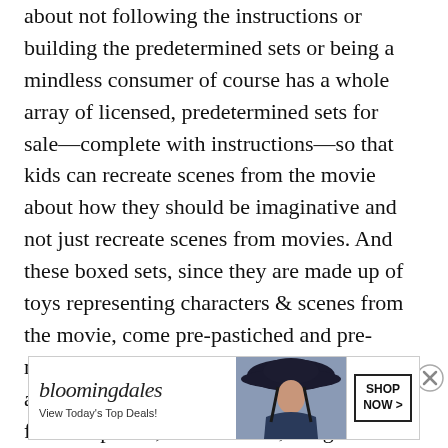about not following the instructions or building the predetermined sets or being a mindless consumer of course has a whole array of licensed, predetermined sets for sale—complete with instructions—so that kids can recreate scenes from the movie about how they should be imaginative and not just recreate scenes from movies. And these boxed sets, since they are made up of toys representing characters & scenes from the movie, come pre-pastiched and pre-mashed-up and pre-de/reconstructed. It appears Chabon's solution, his escape route from corporate, authoritarian, imagination-crushing consumerism has been swallowed up by said corporation, chewed up, and spat back out as merchandise.
Advertisements
[Figure (other): Bloomingdale's advertisement banner with logo, tagline 'View Today's Top Deals!', image of woman in large dark hat, and 'SHOP NOW >' button]